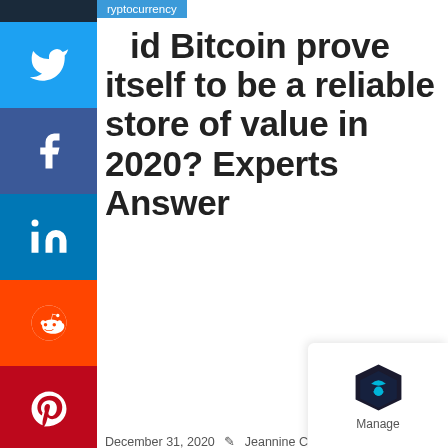cryptocurrency
Did Bitcoin prove itself to be a reliable store of value in 2020? Experts Answer
December 31, 2020  Jeannine Cruz  Bitcoin, BTC
Bitcoin received international attention because of the Twitter hack in mid-July, which needed the crypto neighborhood to protect Bitcoins integrity after the occasion put the words “Bitcoin” and “scam” within one heading once again. The Bitcoin narrative around shop of value and hedge versus currency inflation has solic this year, and I believe its now the dominant posi for BTC, as its most singing fans and institutiona adopters have rallied around it.Thats a comple position for Bitcoin to occupy. Personally, Im most